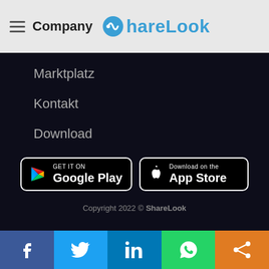Company — ShareLook
Marktplatz
Kontakt
Download
Preisgestaltung
[Figure (logo): GET IT ON Google Play button]
[Figure (logo): Download on the App Store button]
Copyright 2022 © ShareLook
[Figure (infographic): Social share bar with Facebook, Twitter, LinkedIn, WhatsApp, and share icons]